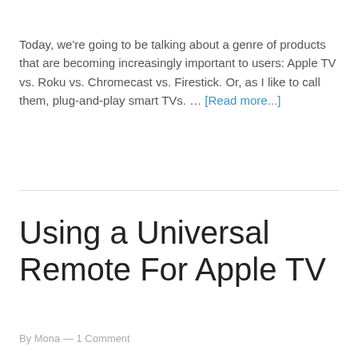Today, we're going to be talking about a genre of products that are becoming increasingly important to users: Apple TV vs. Roku vs. Chromecast vs. Firestick. Or, as I like to call them, plug-and-play smart TVs. … [Read more...]
Using a Universal Remote For Apple TV
By Mona — 1 Comment